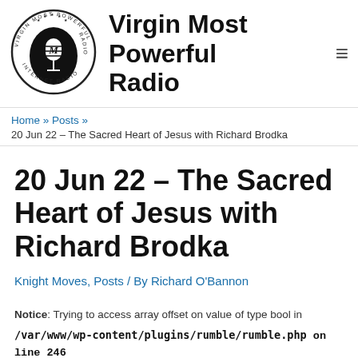[Figure (logo): Virgin Most Powerful Internet Radio circular logo with microphone in center and text around the circle]
Virgin Most Powerful Radio
Home » Posts » 20 Jun 22 – The Sacred Heart of Jesus with Richard Brodka
20 Jun 22 – The Sacred Heart of Jesus with Richard Brodka
Knight Moves, Posts / By Richard O'Bannon
Notice: Trying to access array offset on value of type bool in /var/www/wp-content/plugins/rumble/rumble.php on line 246